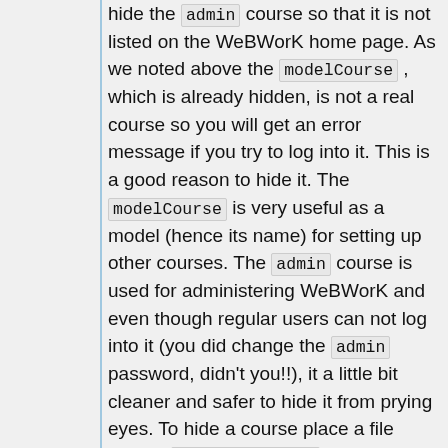hide the admin course so that it is not listed on the WeBWorK home page. As we noted above the modelCourse , which is already hidden, is not a real course so you will get an error message if you try to log into it. This is a good reason to hide it. The modelCourse is very useful as a model (hence its name) for setting up other courses. The admin course is used for administering WeBWorK and even though regular users can not log into it (you did change the admin password, didn't you!!), it a little bit cleaner and safer to hide it from prying eyes. To hide a course place a file named hide_directory in the course directory and it will not show up in the courses list on the WeBWorK home page. It will still appear in the Course